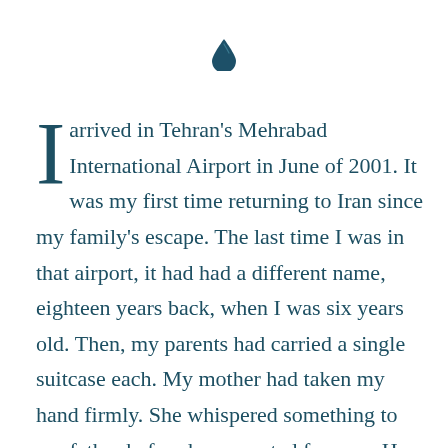[Figure (illustration): Small dark teal teardrop / flame icon centered near top of page]
I arrived in Tehran's Mehrabad International Airport in June of 2001. It was my first time returning to Iran since my family's escape. The last time I was in that airport, it had had a different name, eighteen years back, when I was six years old. Then, my parents had carried a single suitcase each. My mother had taken my hand firmly. She whispered something to my father before he separated from us. He got into the security checkpoint